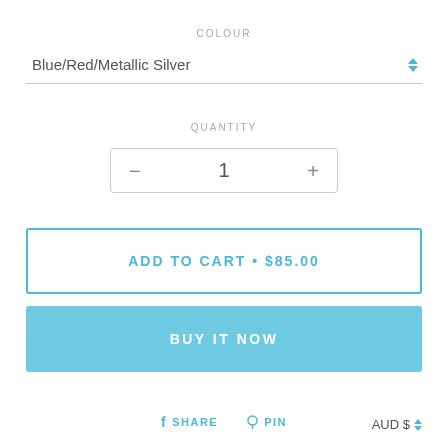COLOUR
Blue/Red/Metallic Silver
QUANTITY
− 1 +
ADD TO CART • $85.00
BUY IT NOW
SHARE
PIN
AUD $